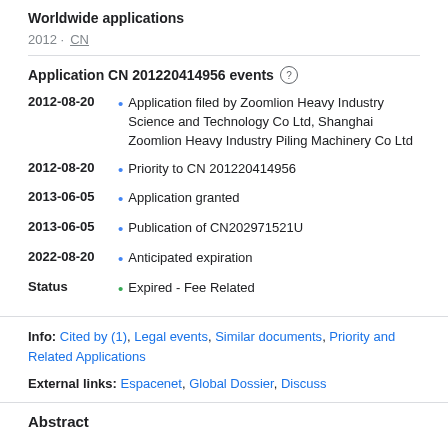Worldwide applications
2012 · CN
Application CN 201220414956 events
2012-08-20 • Application filed by Zoomlion Heavy Industry Science and Technology Co Ltd, Shanghai Zoomlion Heavy Industry Piling Machinery Co Ltd
2012-08-20 • Priority to CN 201220414956
2013-06-05 • Application granted
2013-06-05 • Publication of CN202971521U
2022-08-20 • Anticipated expiration
Status • Expired - Fee Related
Info: Cited by (1), Legal events, Similar documents, Priority and Related Applications
External links: Espacenet, Global Dossier, Discuss
Abstract